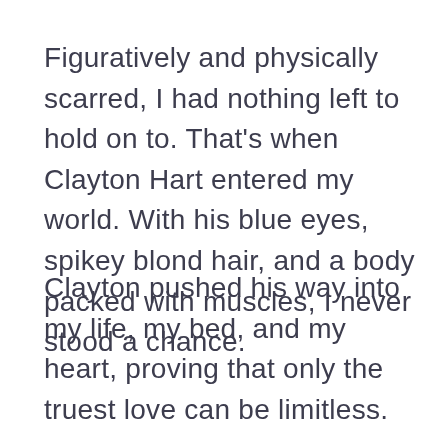Figuratively and physically scarred, I had nothing left to hold on to. That's when Clayton Hart entered my world. With his blue eyes, spikey blond hair, and a body packed with muscles, I never stood a chance.
Clayton pushed his way into my life, my bed, and my heart, proving that only the truest love can be limitless.